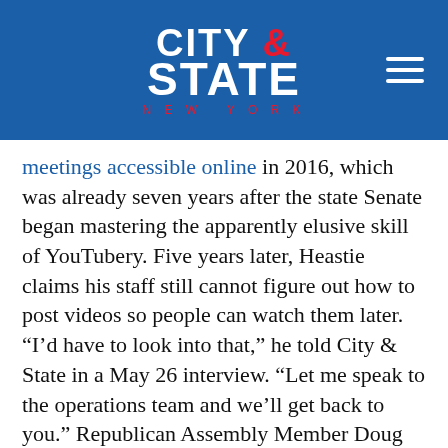[Figure (logo): City & State New York logo on blue background with hamburger menu icon]
meetings accessible online in 2016, which was already seven years after the state Senate began mastering the apparently elusive skill of YouTubery. Five years later, Heastie claims his staff still cannot figure out how to post videos so people can watch them later. “I’d have to look into that,” he told City & State in a May 26 interview. “Let me speak to the operations team and we’ll get back to you.” Republican Assembly Member Doug Smith of Long Island, however, did record the meeting and provided a copy to City & State. City & State obtained a second recording from another source who requested anonymity.
The recordings show Education Committee Chair Michael Benedetto, a Democrat of the Bronx and a